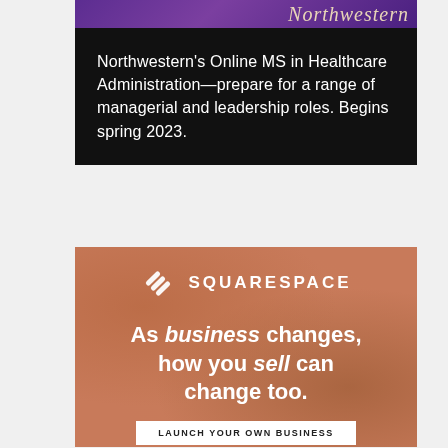[Figure (illustration): Northwestern ad: purple banner with 'Northwestern' text at top, black background body with white text describing Online MS in Healthcare Administration program]
Northwestern's Online MS in Healthcare Administration—prepare for a range of managerial and leadership roles. Begins spring 2023.
[Figure (illustration): Squarespace advertisement on terracotta/rust textured background. Squarespace logo at top, tagline 'As business changes, how you sell can change too.' with 'business' and 'sell' in italic. CTA button: 'LAUNCH YOUR OWN BUSINESS']